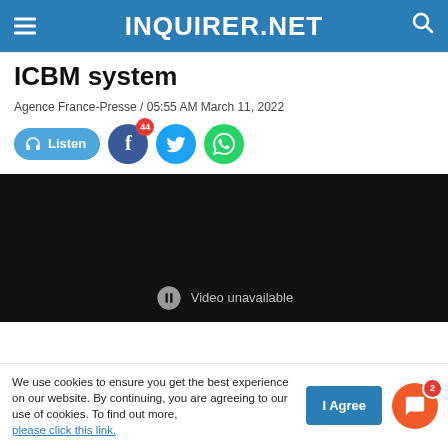INQUIRER.NET
ICBM system
Agence France-Presse / 05:55 AM March 11, 2022
[Figure (screenshot): Social sharing buttons row: Listen button (blue pill), Facebook share button (dark blue circle with badge showing 44), Twitter button (blue circle), WhatsApp button (green circle)]
[Figure (screenshot): Embedded video player showing black screen with 'Video unavailable' text]
We use cookies to ensure you get the best experience on our website. By continuing, you are agreeing to our use of cookies. To find out more, please click this link.